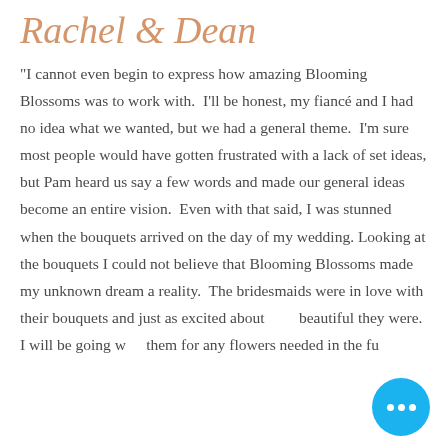Rachel & Dean
"I cannot even begin to express how amazing Blooming Blossoms was to work with. I'll be honest, my fiancé and I had no idea what we wanted, but we had a general theme. I'm sure most people would have gotten frustrated with a lack of set ideas, but Pam heard us say a few words and made our general ideas become an entire vision. Even with that said, I was stunned when the bouquets arrived on the day of my wedding. Looking at the bouquets I could not believe that Blooming Blossoms made my unknown dream a reality. The bridesmaids were in love with their bouquets and just as excited about how beautiful they were. I will be going w... them for any flowers needed in the fu...